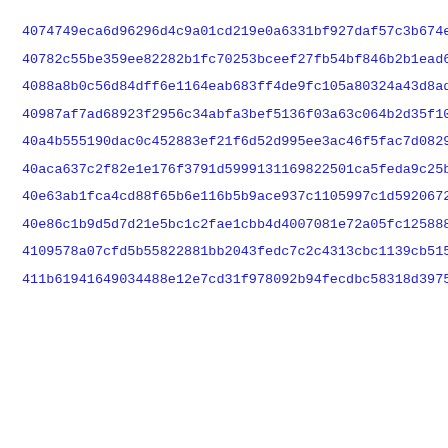4074749eca6d96296d4c9a01cd219e0a6331bf927daf57c3b674ef19ddc3d
40782c55be359ee82282b1fc70253bceef27fb54bf846b2b1ead609e202cd
4088a8b0c56d84dff6e1164eab683ff4de9fc105a80324a43d8ade31a80e6
40987af7ad68923f2956c34abfa3bef5136f03a63c064b2d35f105f29b289
40a4b555190dac0c452883ef21f6d52d995ee3ac46f5fac7d08292a490c22
40aca637c2f82e1e176f3791d5999131169822501ca5feda9c25bcaef1d51
40e63ab1fca4cd88f65b6e116b5b9ace937c1105997c1d5920672850442a7
40e86c1b9d5d7d21e5bc1c2fae1cbb4d4007081e72a05fc125888c6bef6d0
4109578a07cfd5b55822881bb2043fedc7c2c4313cbc1139cb515fa0fd29f
411b61941649034488e12e7cd31f978092b94fecdbc58318d39756cb739da